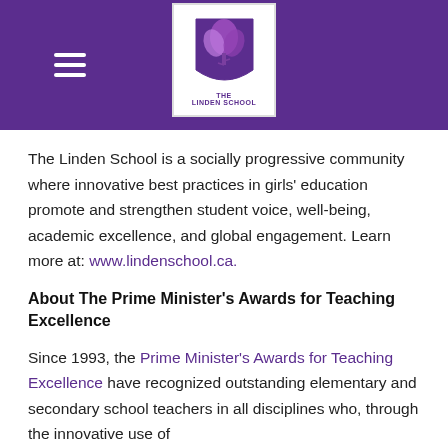[Figure (logo): Linden School logo with purple leaf/tree icon and navigation header bar in purple with hamburger menu]
The Linden School is a socially progressive community where innovative best practices in girls' education promote and strengthen student voice, well-being, academic excellence, and global engagement. Learn more at: www.lindenschool.ca.
About The Prime Minister's Awards for Teaching Excellence
Since 1993, the Prime Minister's Awards for Teaching Excellence have recognized outstanding elementary and secondary school teachers in all disciplines who, through the innovative use of